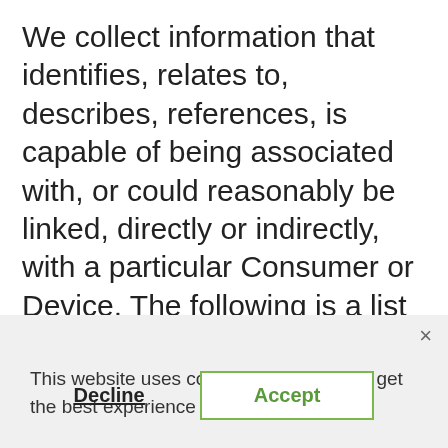We collect information that identifies, relates to, describes, references, is capable of being associated with, or could reasonably be linked, directly or indirectly, with a particular Consumer or Device. The following is a list of categories of personal information which we may collect or may have been collected from California
This website uses cookies to ensure you get the best experience on our website.
Decline   Accept
...e in fact collected by us, but reflects our good